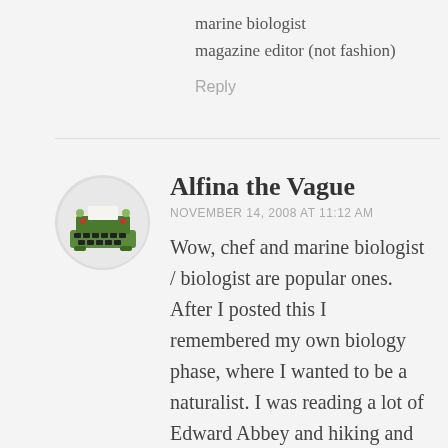marine biologist
magazine editor (not fashion)
Reply
Alfina the Vague
NOVEMBER 14, 2008 AT 11:12 AM
Wow, chef and marine biologist / biologist are popular ones. After I posted this I remembered my own biology phase, where I wanted to be a naturalist. I was reading a lot of Edward Abbey and hiking and whatnot. Anyway, keep 'em coming! These are fun.
[Figure (illustration): Avatar icon of a green typewriter on a light circular background]